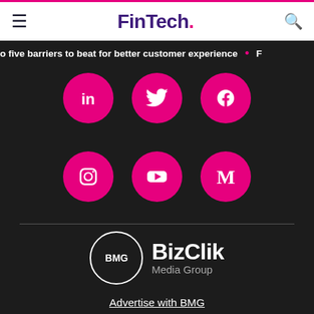FinTech.
o five barriers to beat for better customer experience
[Figure (illustration): Six circular pink social media icons: LinkedIn, Twitter, Facebook (top row), Instagram, YouTube, Medium (bottom row)]
[Figure (logo): BizClik Media Group logo — white circle with BMG text, followed by BizClik Media Group wordmark]
Advertise with BMG
User Agreement
Privacy Policy